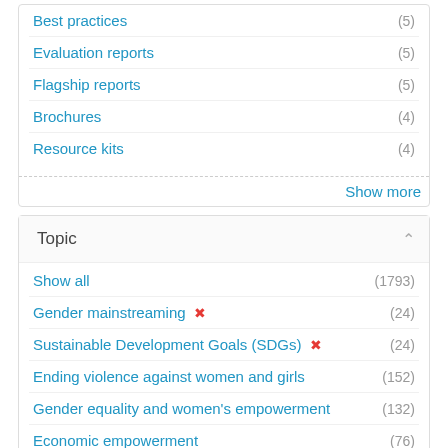Best practices (5)
Evaluation reports (5)
Flagship reports (5)
Brochures (4)
Resource kits (4)
Show more
Topic
Show all (1793)
Gender mainstreaming ✕ (24)
Sustainable Development Goals (SDGs) ✕ (24)
Ending violence against women and girls (152)
Gender equality and women's empowerment (132)
Economic empowerment (76)
Leadership and political participation (49)
Peace and security (48)
COVID-19 (45)